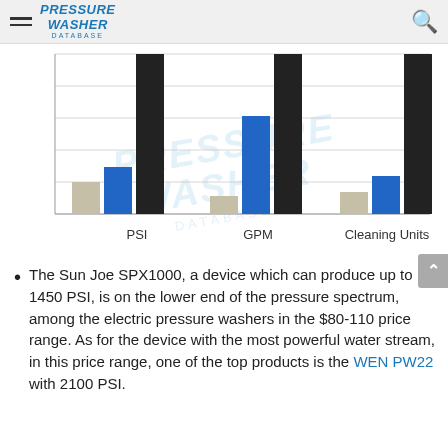Pressure Washer Database
[Figure (grouped-bar-chart): PSI, GPM, Cleaning Units comparison]
The Sun Joe SPX1000, a device which can produce up to 1450 PSI, is on the lower end of the pressure spectrum, among the electric pressure washers in the $80-110 price range. As for the device with the most powerful water stream, in this price range, one of the top products is the WEN PW22 with 2100 PSI.